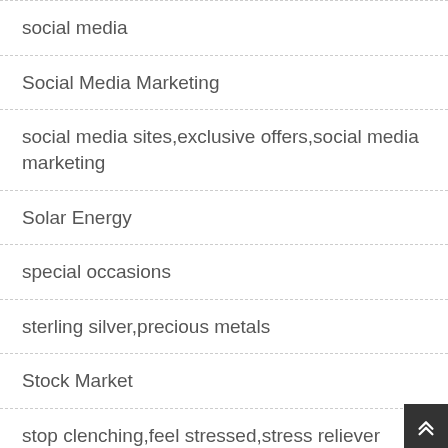social media
Social Media Marketing
social media sites,exclusive offers,social media marketing
Solar Energy
special occasions
sterling silver,precious metals
Stock Market
stop clenching,feel stressed,stress reliever
stop smoking,quitting smoking,quit smoking,loved ones